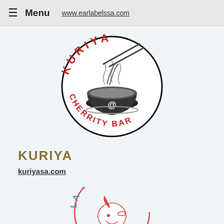Menu  www.earlabelssa.com
[Figure (logo): Kuriya @ Cherrity Bar circular logo with chopsticks and noodle bowl]
KURIYA
kuriyasa.com
[Figure (logo): La Tienda De circular logo with goat head illustration, partially visible]